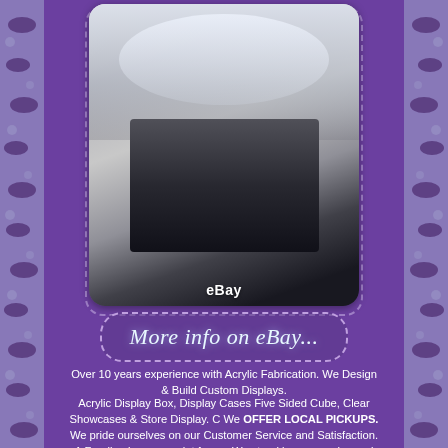[Figure (photo): Acrylic display box/case product photo showing a clear five-sided cube showcase with dark interior bottom, viewed from above at an angle. eBay watermark visible at bottom center of the photo.]
More info on eBay...
Over 10 years experience with Acrylic Fabrication. We Design & Build Custom Displays.
Acrylic Display Box, Display Cases Five Sided Cube, Clear Showcases & Store Display. C We OFFER LOCAL PICKUPS. We pride ourselves on our Customer Service and Satisfaction. A Feedback means a lot for us. We stand by our service and